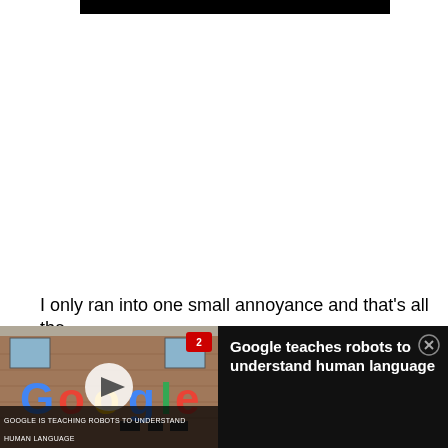I only ran into one small annoyance and that's all the
[Figure (screenshot): Video widget showing Google sign on building with play button overlay. Channel badge '2' in red top-right. Caption bar reads 'GOOGLE IS TEACHING ROBOTS TO UNDERSTAND HUMAN LANGUAGE'. Beside thumbnail: title 'Google teaches robots to understand human language' with close (X) button.]